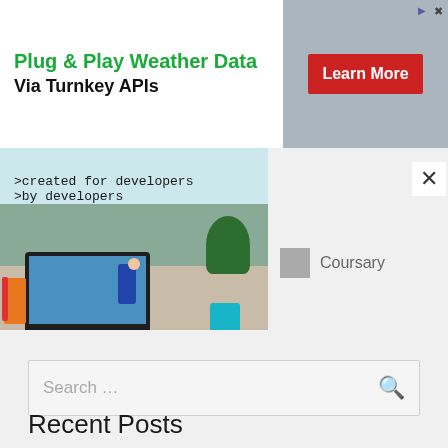[Figure (infographic): Advertisement banner: Plug & Play Weather Data Via Turnkey APIs with Learn More red button on right]
[Figure (screenshot): Developer-oriented ad: created for developers by developers with REQUEST A DEMO green button]
[Figure (photo): Photo of a person at a laptop on a desk with plant and coffee cup, online learning scene]
Coursary
Search ...
Recent Posts